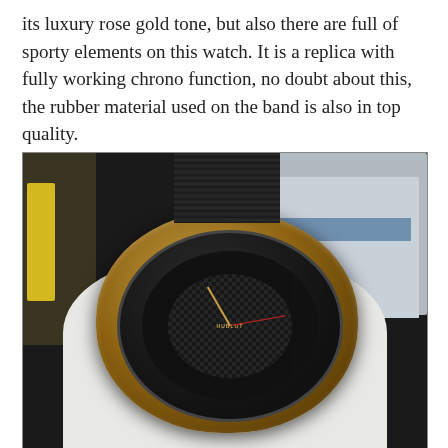its luxury rose gold tone, but also there are full of sporty elements on this watch. It is a replica with fully working chrono function, no doubt about this, the rubber material used on the band is also in top quality.
[Figure (photo): A person wearing white gloves holding a Hublot replica watch with rose gold case, black rubber strap with checkered pattern, and dark chronograph dial with gold hands. Background shows workshop equipment and a screen.]